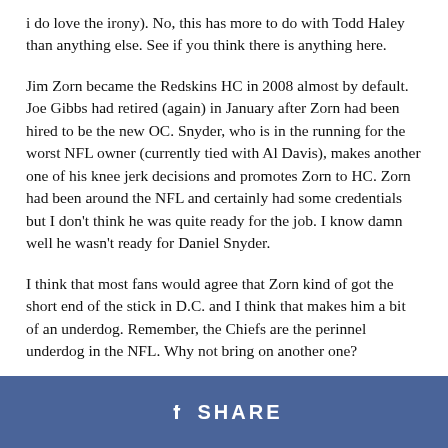i do love the irony). No, this has more to do with Todd Haley than anything else. See if you think there is anything here.
Jim Zorn became the Redskins HC in 2008 almost by default. Joe Gibbs had retired (again) in January after Zorn had been hired to be the new OC. Snyder, who is in the running for the worst NFL owner (currently tied with Al Davis), makes another one of his knee jerk decisions and promotes Zorn to HC. Zorn had been around the NFL and certainly had some credentials but I don't think he was quite ready for the job. I know damn well he wasn't ready for Daniel Snyder.
I think that most fans would agree that Zorn kind of got the short end of the stick in D.C. and I think that makes him a bit of an underdog. Remember, the Chiefs are the perinnel underdog in the NFL. Why not bring on another one?
All reports about Zorn are that he is a man of faith, an
f  SHARE